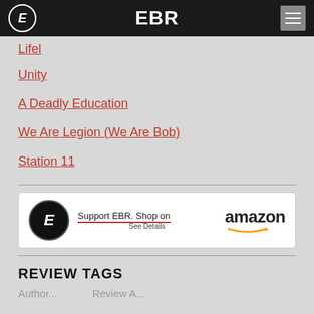EBR
Lifel
Unity
A Deadly Education
We Are Legion (We Are Bob)
Station 11
[Figure (infographic): EBR Amazon affiliate banner: EBR logo circle, text 'Support EBR. Shop on amazon', 'See Details']
REVIEW TAGS
Author ... Review A...